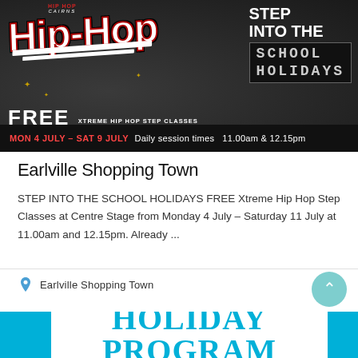[Figure (screenshot): Hip-hop school holiday event promotional banner. Dark graffiti-style background with stylized 'HIP HOP' graffiti text on the left, and 'CAIRNS STEP INTO THE SCHOOL HOLIDAYS FREE XTREME HIP HOP STEP CLASSES' on the right. Bottom bar reads: MON 4 JULY – SAT 9 JULY Daily session times 11.00am & 12.15pm]
Earlville Shopping Town
STEP INTO THE SCHOOL HOLIDAYS FREE Xtreme Hip Hop Step Classes at Centre Stage from Monday 4 July – Saturday 11 July at 11.00am and 12.15pm. Already ...
Earlville Shopping Town
[Figure (screenshot): Partial bottom banner showing 'HOLIDAY PROGRAM' text in cyan/teal on a cream background with blue side panels]